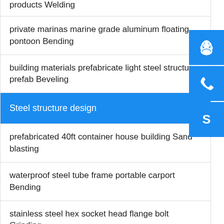products Welding
private marinas marine grade aluminum floating pontoon Bending
building materials prefabricate light steel structure prefab Beveling
Steel structure design
prefabricated 40ft container house building Sand blasting
waterproof steel tube frame portable carport Bending
stainless steel hex socket head flange bolt Grinding
good plasticity building steel structure school fo